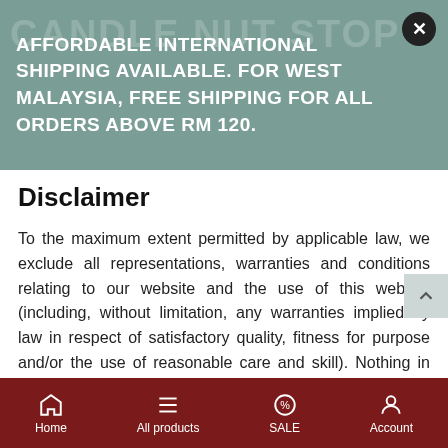AFFORDABLE INTERNATIONAL SHIPPING AVAILABLE. For West MALAYSIA, Free Shipping for ALL ORDERS ABOVE RM 120.
Disclaimer
To the maximum extent permitted by applicable law, we exclude all representations, warranties and conditions relating to our website and the use of this website (including, without limitation, any warranties implied by law in respect of satisfactory quality, fitness for purpose and/or the use of reasonable care and skill). Nothing in this disclaimer will:
limit or exclude our or your liability for death or personal injury resulting from negligence;
limit or exclude our or your liability for fraud or